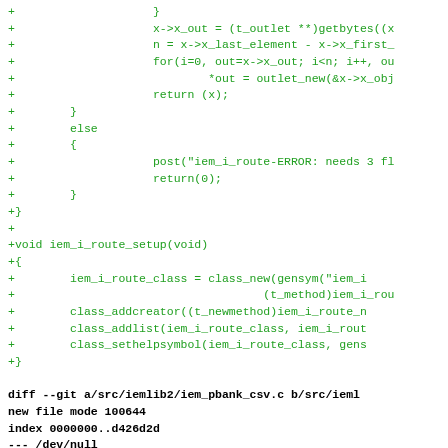Code diff showing iem_i_route and iem_pbank_csv.c file additions